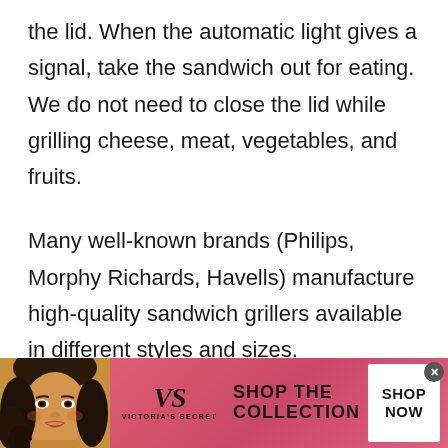the lid. When the automatic light gives a signal, take the sandwich out for eating. We do not need to close the lid while grilling cheese, meat, vegetables, and fruits.
Many well-known brands (Philips, Morphy Richards, Havells) manufacture high-quality sandwich grillers available in different styles and sizes.
[Figure (photo): Victoria's Secret advertisement banner with a model photo on the left, Victoria's Secret logo in the center, 'SHOP THE COLLECTION' text, and a white 'SHOP NOW' button on the right, on a pink/red gradient background.]